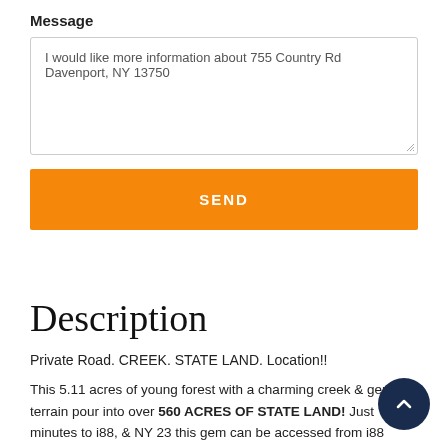Message
I would like more information about 755 Country Rd Davenport, NY 13750
SEND
Description
Private Road. CREEK. STATE LAND. Location!!
This 5.11 acres of young forest with a charming creek & gentle terrain pour into over 560 ACRES OF STATE LAND! Just minutes to i88, & NY 23 this gem can be accessed from i88 leaves you 45 minutes from ALBANY & NY 23 can take you